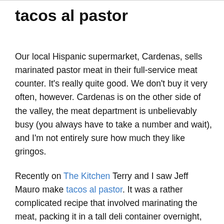tacos al pastor
Our local Hispanic supermarket, Cardenas, sells marinated pastor meat in their full-service meat counter. It's really quite good. We don't buy it very often, however. Cardenas is on the other side of the valley, the meat department is unbelievably busy (you always have to take a number and wait), and I'm not entirely sure how much they like gringos.
Recently on The Kitchen Terry and I saw Jeff Mauro make tacos al pastor. It was a rather complicated recipe that involved marinating the meat, packing it in a tall deli container overnight, removing it, putting pineapple slices on either end, and running skewers through it to create an ersatz spit. It then involved cooking the meat with wood